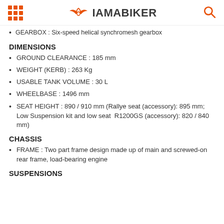IAMABIKER
GEARBOX : Six-speed helical synchromesh gearbox
DIMENSIONS
GROUND CLEARANCE : 185 mm
WEIGHT (KERB) : 263 Kg
USABLE TANK VOLUME : 30 L
WHEELBASE : 1496 mm
SEAT HEIGHT : 890 / 910 mm (Rallye seat (accessory): 895 mm; Low Suspension kit and low seat  R1200GS (accessory): 820 / 840 mm)
CHASSIS
FRAME : Two part frame design made up of main and screwed-on rear frame, load-bearing engine
SUSPENSIONS